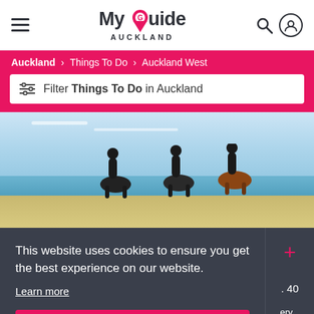My Guide Auckland
Auckland > Things To Do > Auckland West
Filter Things To Do in Auckland
[Figure (photo): People horseback riding on a beach with ocean and sky in background]
This website uses cookies to ensure you get the best experience on our website.
Learn more
Got it!